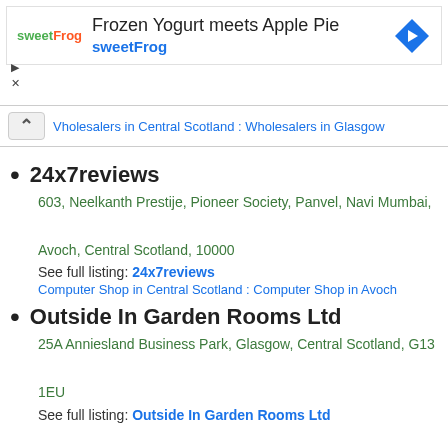[Figure (infographic): Advertisement banner for sweetFrog: 'Frozen Yogurt meets Apple Pie' with sweetFrog logo and blue navigation arrow icon]
Wholesalers in Central Scotland : Wholesalers in Glasgow
24x7reviews
603, Neelkanth Prestije, Pioneer Society, Panvel, Navi Mumbai,
Avoch, Central Scotland, 10000
See full listing: 24x7reviews
Computer Shop in Central Scotland : Computer Shop in Avoch
Outside In Garden Rooms Ltd
25A Anniesland Business Park, Glasgow, Central Scotland, G13 1EU
See full listing: Outside In Garden Rooms Ltd